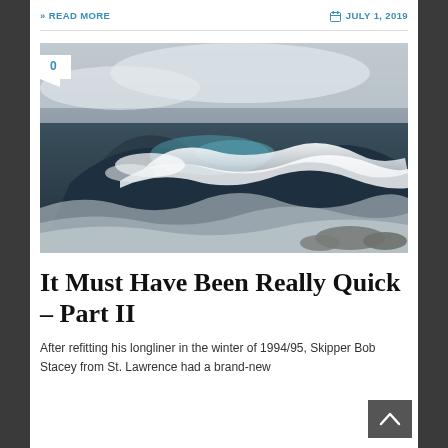» READ MORE   JULY 1, 2019
[Figure (photo): Black and white ocean wave crashing, with white foam and dark water, rocky shoreline, stormy sea. A white comment badge with '0' appears in the top-left corner of the image.]
It Must Have Been Really Quick – Part II
After refitting his longliner in the winter of 1994/95, Skipper Bob Stacey from St. Lawrence had a brand-new